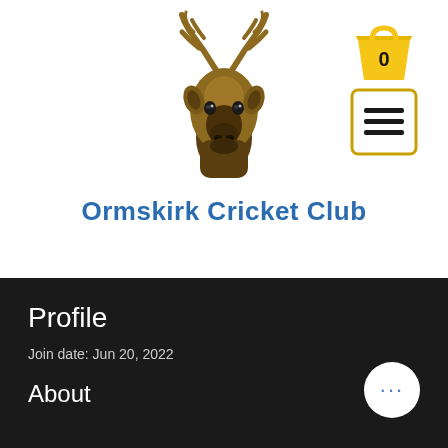[Figure (logo): Ormskirk Cricket Club stag/deer head logo in gold/brown tones]
[Figure (illustration): Yellow shopping bag icon with number 0]
[Figure (illustration): Hamburger/menu icon in a yellow-bordered square button]
Ormskirk Cricket Club
Profile
Join date: Jun 20, 2022
About
[Figure (illustration): White circular button with three blue dots (more options)]